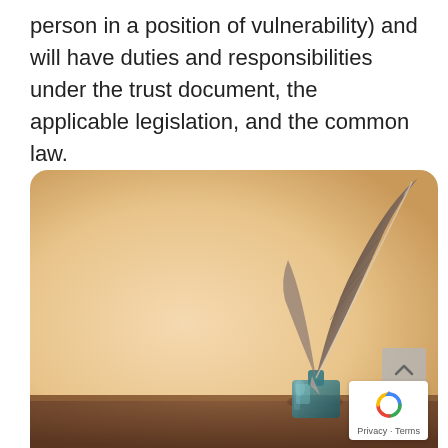person in a position of vulnerability) and will have duties and responsibilities under the trust document, the applicable legislation, and the common law.
[Figure (photo): A quill feather pen standing in a small glass ink bottle, placed on a wooden surface against a warm beige/cream background. Vintage, legal/writing theme.]